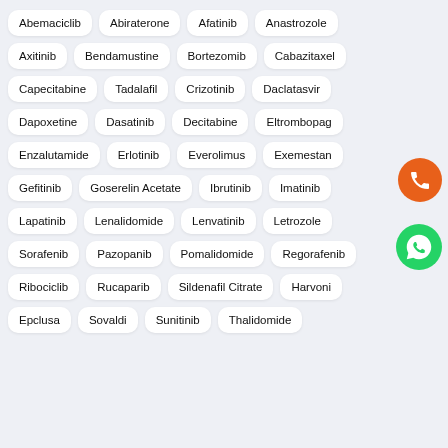Abemaciclib
Abiraterone
Afatinib
Anastrozole
Axitinib
Bendamustine
Bortezomib
Cabazitaxel
Capecitabine
Tadalafil
Crizotinib
Daclatasvir
Dapoxetine
Dasatinib
Decitabine
Eltrombopag
Enzalutamide
Erlotinib
Everolimus
Exemestane
Gefitinib
Goserelin Acetate
Ibrutinib
Imatinib
Lapatinib
Lenalidomide
Lenvatinib
Letrozole
Sorafenib
Pazopanib
Pomalidomide
Regorafenib
Ribociclib
Rucaparib
Sildenafil Citrate
Harvoni
Epclusa
Sovaldi
Sunitinib
Thalidomide